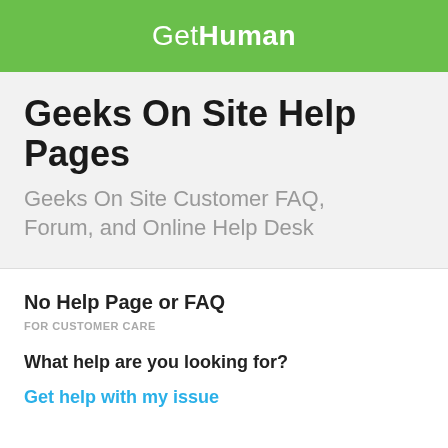GetHuman
Geeks On Site Help Pages
Geeks On Site Customer FAQ, Forum, and Online Help Desk
No Help Page or FAQ
FOR CUSTOMER CARE
What help are you looking for?
Get help with my issue